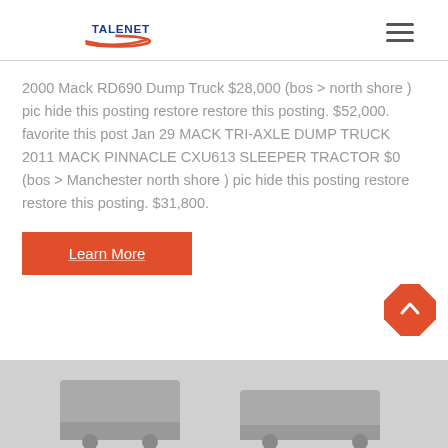[Figure (logo): TALENET company logo with red swoosh and blue text]
2000 Mack RD690 Dump Truck $28,000 (bos > north shore ) pic hide this posting restore restore this posting. $52,000. favorite this post Jan 29 MACK TRI-AXLE DUMP TRUCK 2011 MACK PINNACLE CXU613 SLEEPER TRACTOR $0 (bos > Manchester north shore ) pic hide this posting restore restore this posting. $31,800.
Learn More
[Figure (photo): Partial photo of trucks at the bottom of the page]